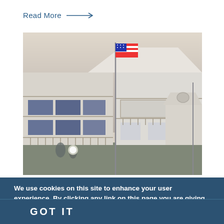Read More →
[Figure (photo): Multi-story white beach/coastal building with balconies and an American flag on a flagpole in front, other white buildings visible in background, overcast sky]
We use cookies on this site to enhance your user experience. By clicking any link on this page you are giving your consent for us to set cookies. More info
GOT IT